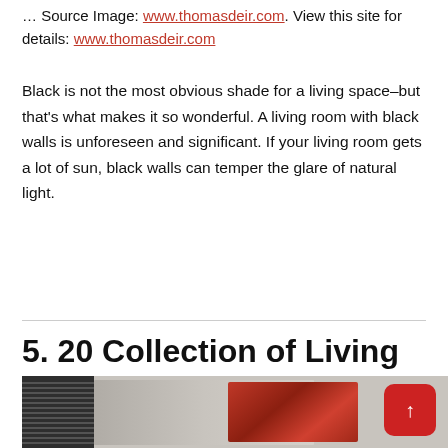… Source Image: www.thomasdeir.com. View this site for details: www.thomasdeir.com
Black is not the most obvious shade for a living space–but that's what makes it so wonderful. A living room with black walls is unforeseen and significant. If your living room gets a lot of sun, black walls can temper the glare of natural light.
5. 20 Collection of Living Room Wall Art
[Figure (photo): Partial view of living room wall art — black venetian blinds on left, colorful abstract canvas artwork on right with red tones]